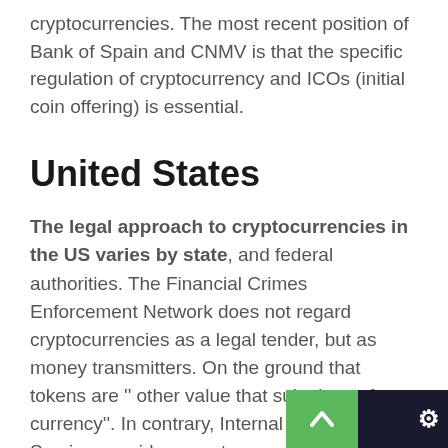cryptocurrencies. The most recent position of Bank of Spain and CNMV is that the specific regulation of cryptocurrency and ICOs (initial coin offering) is essential.
United States
The legal approach to cryptocurrencies in the US varies by state, and federal authorities. The Financial Crimes Enforcement Network does not regard cryptocurrencies as a legal tender, but as money transmitters. On the ground that tokens are '' other value that substitutes for currency''. In contrary, Internal Revenue Service considers cryptocurrencies as property, and accordingly issued a tax